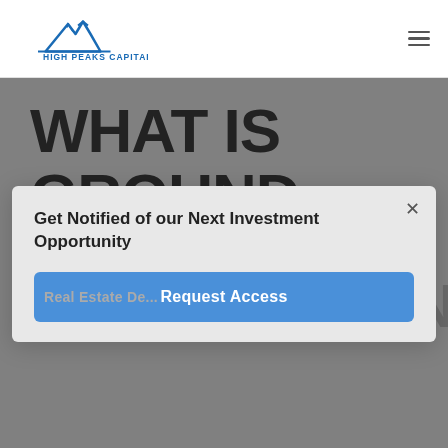HIGH PEAKS CAPITAL
WHAT IS GROUND UP DEVELOPMENT?
Get Notified of our Next Investment Opportunity
Request Access
Real Estate De...
Ground Up Development